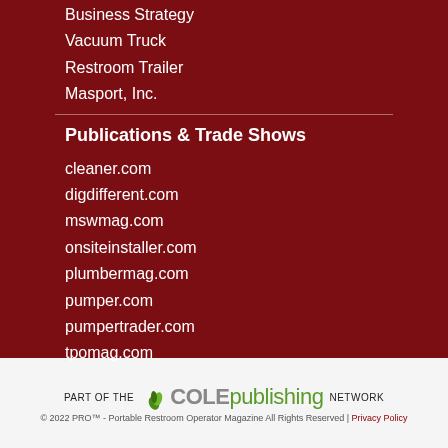Business Strategy
Vacuum Truck
Restroom Trailer
Masport, Inc.
Publications & Trade Shows
cleaner.com
digdifferent.com
mswmag.com
onsiteinstaller.com
plumbermag.com
pumper.com
pumpertrader.com
tpomag.com
[Figure (logo): Cole Publishing network logo with green leaf icon]
© 2022 PRO™ - Portable Restroom Operator Magazine All Rights Reserved | Privacy Policy